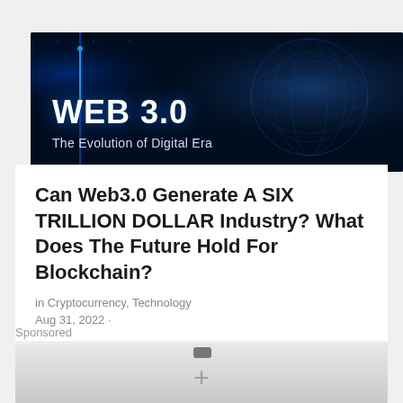[Figure (illustration): Dark blue digital banner with globe/world map graphic. Large white bold text reads 'WEB 3.0' and subtitle 'The Evolution of Digital Era' in lighter blue-white text. Blue digital circuit/grid lines in background.]
Can Web3.0 Generate A SIX TRILLION DOLLAR Industry? What Does The Future Hold For Blockchain?
in Cryptocurrency, Technology
Aug 31, 2022 ·
Sponsored
[Figure (other): Gray advertisement placeholder with a small dark icon and a plus sign (+) in the center.]